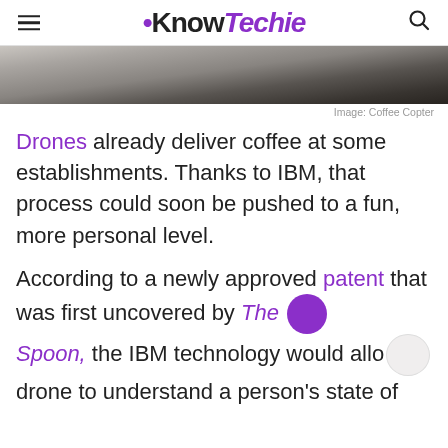KnowTechie
[Figure (photo): Partial photo of a coffee drone device, dark cylindrical object visible against light background]
Image: Coffee Copter
Drones already deliver coffee at some establishments. Thanks to IBM, that process could soon be pushed to a fun, more personal level.
According to a newly approved patent that was first uncovered by The Spoon, the IBM technology would allow a drone to understand a person's state of